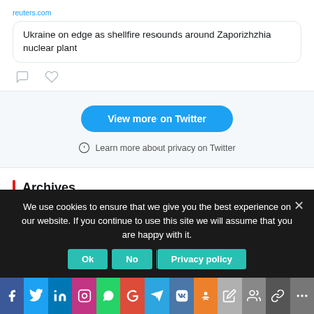[Figure (screenshot): Twitter/X embedded tweet card showing a Reuters link preview for 'Ukraine on edge as shellfire resounds around Zaporizhzhia nuclear plant' with comment and heart icons]
View more on Twitter
Learn more about privacy on Twitter
Archives
August 2022
We use cookies to ensure that we give you the best experience on our website. If you continue to use this site we will assume that you are happy with it.
Ok  No  Privacy policy
[Figure (infographic): Social media sharing icon bar: Facebook, Twitter, LinkedIn, Instagram, WhatsApp, Google, Telegram, VK, OK, and more icons]